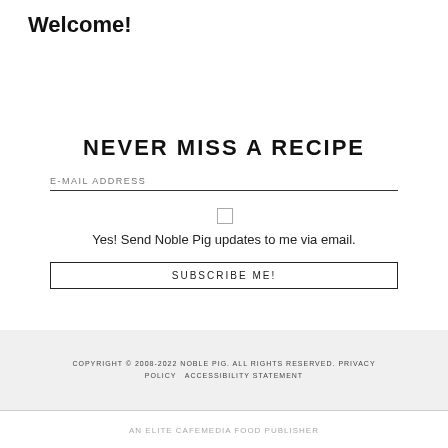Welcome!
NEVER MISS A RECIPE
E-MAIL ADDRESS
Yes! Send Noble Pig updates to me via email.
SUBSCRIBE ME!
COPYRIGHT © 2008-2022 NOBLE PIG. ALL RIGHTS RESERVED. PRIVACY POLICY ACCESSIBILITY STATEMENT
AN ELITE CAFEMEDIA FOOD PUBLISHER